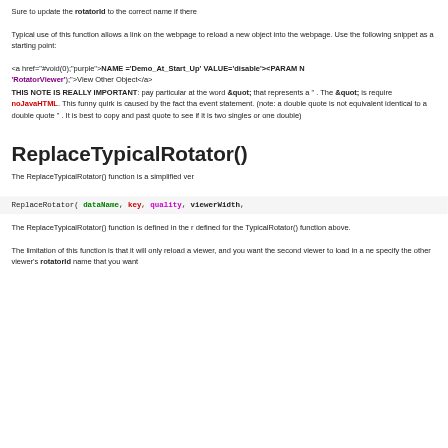Sure to update the rotatorId to the correct name if there
Typical use of this function allows a link on the webpage to reload a new object into the webpage. Use the following snippet as a starting point:
<a href="javascript:void(0);" onclick="ReplaceCustomRo NAME ='Demo_At_Start_Up' VALUE='disable'><PARAM N 'RotatorViewer');">View Other Object</a>
THIS NOTE IS REALLY IMPORTANT: pay particular attention to the word &quot; that represents a ". The &quot; is required instead of " in the noJavaHTML. This funny quirk is caused by the fact that " ends the onclick event statement. (note: a double quote is not equivalent to two single quotes identical to a double quote " . It is best to copy and paste then zoom in on the quote to see if it is two singles or one double)
ReplaceTypicalRotator()
The ReplaceTypicalRotator() function is a simplified ver
ReplaceRotator( dataName, key, quality, viewerWidth,
The ReplaceTypicalRotator() function is defined in the r defined for the TypicalRotator() function above.
The limitation of this function is that it will only reload a viewer, and you want the second viewer to load in a ne specify the other viewer's rotatorId name that you want